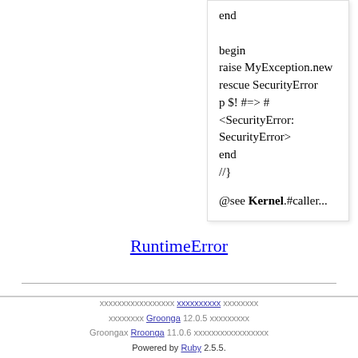end

begin
raise MyException.new
rescue SecurityError
p $! #=> #<SecurityError: SecurityError>
end
//}

@see Kernel.#caller...
RuntimeError
xxxxxxxxxxxxxxxxx xxxxxxxxxx xxxxxxxx
xxxxxxxx Groonga 12.0.5 xxxxxxxxx
Groongax Rroonga 11.0.6 xxxxxxxxxxxxxxxxx
Powered by Ruby 2.5.5.
xxxxxxxxxxxxxxxx x GitHub xxxxxxxx